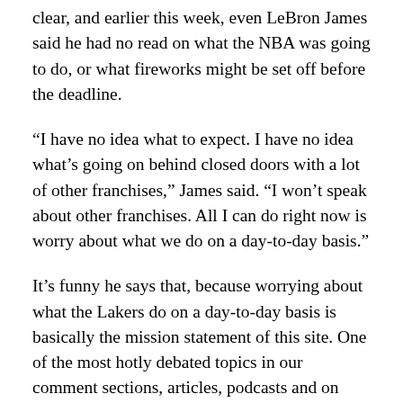clear, and earlier this week, even LeBron James said he had no read on what the NBA was going to do, or what fireworks might be set off before the deadline.
“I have no idea what to expect. I have no idea what’s going on behind closed doors with a lot of other franchises,” James said. “I won’t speak about other franchises. All I can do right now is worry about what we do on a day-to-day basis.”
It’s funny he says that, because worrying about what the Lakers do on a day-to-day basis is basically the mission statement of this site. One of the most hotly debated topics in our comment sections, articles, podcasts and on Twitter for months in this community has been various ideas about what the Lakers should do to bolster their roster, and differing theories about what is “wrong” with this team.